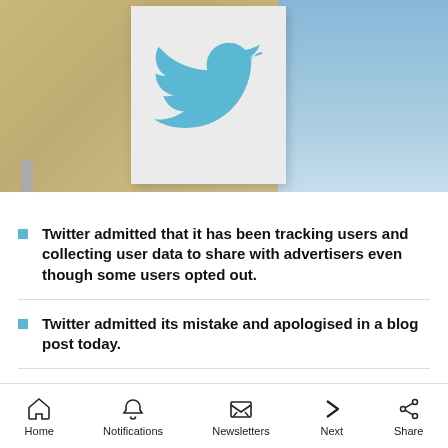[Figure (photo): Photo of a Twitter logo sign (blue bird on white board) against a building wall and blue sky background]
Twitter admitted that it has been tracking users and collecting user data to share with advertisers even though some users opted out.
Twitter admitted its mistake and apologised in a blog post today.
Home   Notifications   Newsletters   Next   Share